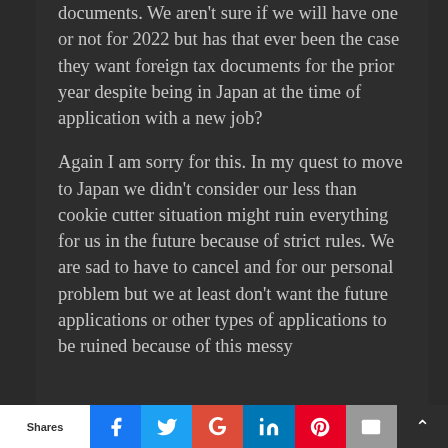documents. We aren't sure if we will have one or not for 2022 but has that ever been the case they want foreign tax documents for the prior year despite being in Japan at the time of application with a new job?
Again I am sorry for this. In my quest to move to Japan we didn't consider our less than cookie cutter situation might ruin everything for us in the future because of strict rules. We are sad to have to cancel and for our personal problem but we at least don't want the future applications or other types of applications to be ruined because of this messy
Shares | [Facebook] [Twitter] [Google+] [LinkedIn] [Pinterest] [Email] [Bookmark]